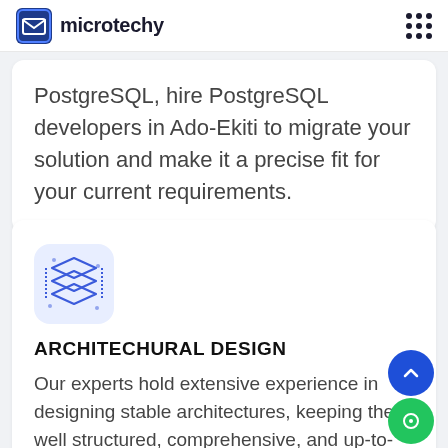microtechy
PostgreSQL, hire PostgreSQL developers in Ado-Ekiti to migrate your solution and make it a precise fit for your current requirements.
[Figure (illustration): Blue layered stack / database architecture icon on light blue rounded square background]
ARCHITECHURAL DESIGN
Our experts hold extensive experience in designing stable architectures, keeping them well structured, comprehensive, and up-to-date. We have skilled team of PostgreSQL